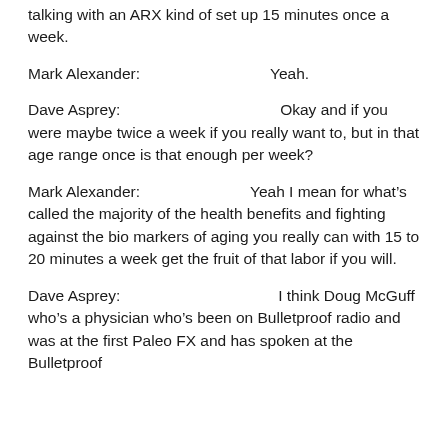talking with an ARX kind of set up 15 minutes once a week.
Mark Alexander:                 Yeah.
Dave Asprey:                    Okay and if you were maybe twice a week if you really want to, but in that age range once is that enough per week?
Mark Alexander:             Yeah I mean for what's called the majority of the health benefits and fighting against the bio markers of aging you really can with 15 to 20 minutes a week get the fruit of that labor if you will.
Dave Asprey:                    I think Doug McGuff who’s a physician who’s been on Bulletproof radio and was at the first Paleo FX and has spoken at the Bulletproof